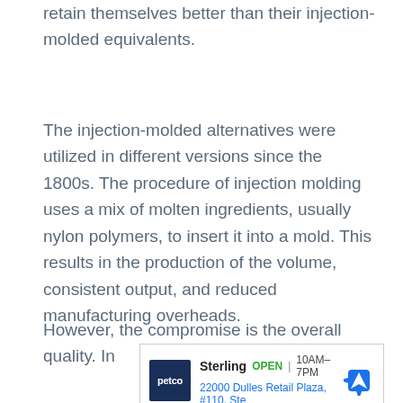retain themselves better than their injection-molded equivalents.
The injection-molded alternatives were utilized in different versions since the 1800s. The procedure of injection molding uses a mix of molten ingredients, usually nylon polymers, to insert it into a mold. This results in the production of the volume, consistent output, and reduced manufacturing overheads.
However, the compromise is the overall quality. In
[Figure (other): Advertisement for Petco store in Sterling, showing store logo, open status (OPEN 10AM-7PM), address (22000 Dulles Retail Plaza, #110, Ste), and a navigation arrow icon. Controls show play and close icons at bottom left.]